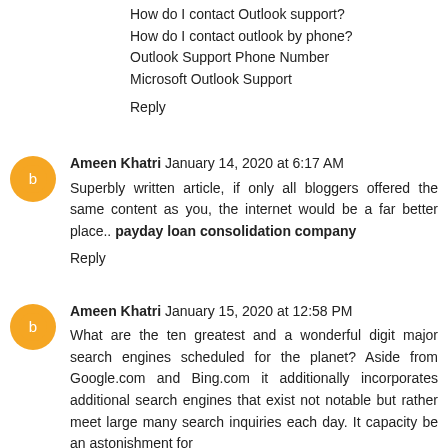How do I contact Outlook support?
How do I contact outlook by phone?
Outlook Support Phone Number
Microsoft Outlook Support
Reply
Ameen Khatri  January 14, 2020 at 6:17 AM
Superbly written article, if only all bloggers offered the same content as you, the internet would be a far better place.. payday loan consolidation company
Reply
Ameen Khatri  January 15, 2020 at 12:58 PM
What are the ten greatest and a wonderful digit major search engines scheduled for the planet? Aside from Google.com and Bing.com it additionally incorporates additional search engines that exist not notable but rather meet large many search inquiries each day. It capacity be an astonishment for